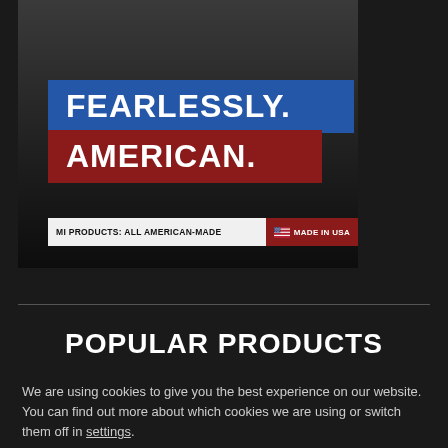[Figure (photo): Hero image with dark background showing military/outdoor scene. Contains two text banners: 'FEARLESSLY.' on blue background and 'AMERICAN.' on dark red background. Bottom bar reads 'MI PRODUCTS: ALL AMERICAN-MADE' with 'MADE IN USA' flag badge.]
Popular Products
We are using cookies to give you the best experience on our website. You can find out more about which cookies we are using or switch them off in settings.
Accept